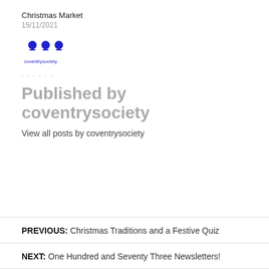Christmas Market
15/11/2021
[Figure (logo): Coventry Society logo with three blue human figure icons above the text 'coventrysociety']
......
Published by coventrysociety
View all posts by coventrysociety
PREVIOUS: Christmas Traditions and a Festive Quiz
NEXT: One Hundred and Seventy Three Newsletters!